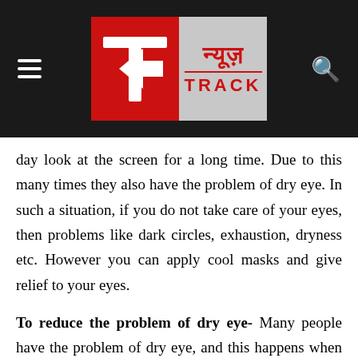[Figure (logo): News Track logo on dark header bar with hamburger menu on left and search icon on right]
day look at the screen for a long time. Due to this many times they also have the problem of dry eye. In such a situation, if you do not take care of your eyes, then problems like dark circles, exhaustion, dryness etc. However you can apply cool masks and give relief to your eyes.
To reduce the problem of dry eye- Many people have the problem of dry eye, and this happens when the moisture is exhausted from the eyes. By the way, whenever you have this kind of problem, first of all you should consult a specialist. Yes and if you use gel eye mask, then you will get some relief immediately